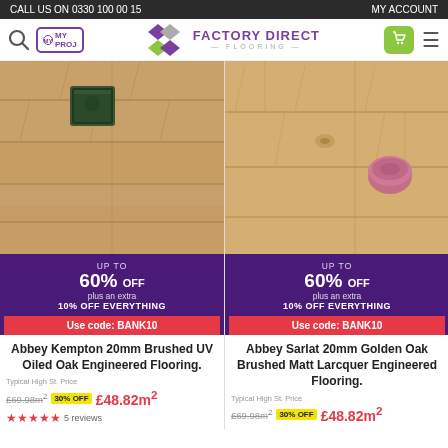CALL US ON 0330 100 00 15  MY ACCOUNT
[Figure (logo): Factory Direct Flooring logo with diamond shapes in purple and green]
[Figure (photo): Abbey Kempton 20mm Brushed UV Oiled Oak Engineered Flooring product image showing oak wood planks with a decorative tin box]
UP TO 60% OFF plus an extra 10% OFF EVERYTHING Use code: BANK10
Abbey Kempton 20mm Brushed UV Oiled Oak Engineered Flooring.
Typical High St. Price £69.98m² 30% OFF £48.82m² 5 reviews
[Figure (photo): Abbey Sarlat 20mm Golden Oak Brushed Matt Lacquer Engineered Flooring product image showing golden oak wood planks]
UP TO 60% OFF plus an extra 10% OFF EVERYTHING Use code: BANK10
Abbey Sarlat 20mm Golden Oak Brushed Matt Larcquer Engineered Flooring.
Typical High St. Price £69.98m² 30% OFF £48.82m²